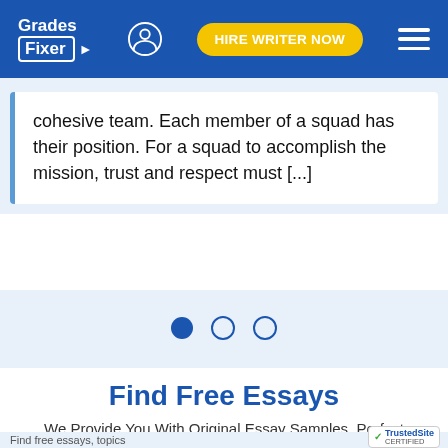Grades Fixer | HIRE WRITER NOW
cohesive team. Each member of a squad has their position. For a squad to accomplish the mission, trust and respect must [...]
[Figure (other): Carousel navigation dots: one filled blue dot followed by two empty circle dots]
Find Free Essays
We Provide You With Original Essay Samples, Perfect Formatting And Styling
Find free essays, topics